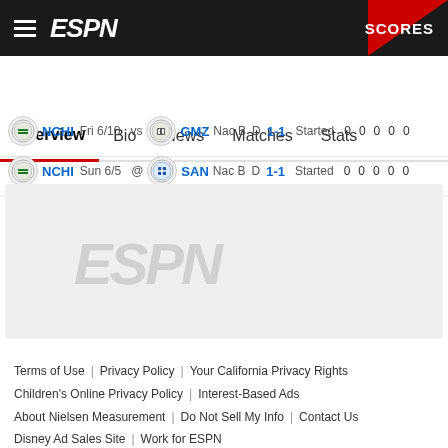ESPN — SCORES
Overview | Bio | News | Matches | Stats
NCHI Fri 6/10 vs GMZ Nac B D 1-1 Started 0 0 0 0 0
NCHI Sun 6/5 @ SAN Nac B D 1-1 Started 0 0 0 0 0
[Figure (logo): ESPN watermark logo in gray on light gray background]
Terms of Use | Privacy Policy | Your California Privacy Rights | Children's Online Privacy Policy | Interest-Based Ads | About Nielsen Measurement | Do Not Sell My Info | Contact Us | Disney Ad Sales Site | Work for ESPN
Copyright: © ESPN Enterprises, Inc. All rights reserved.